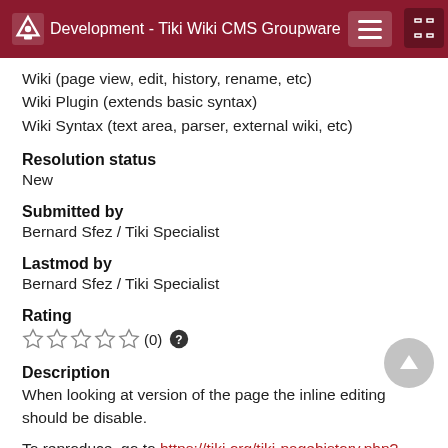Development - Tiki Wiki CMS Groupware
Wiki (page view, edit, history, rename, etc)
Wiki Plugin (extends basic syntax)
Wiki Syntax (text area, parser, external wiki, etc)
Resolution status
New
Submitted by
Bernard Sfez / Tiki Specialist
Lastmod by
Bernard Sfez / Tiki Specialist
Rating
☆ ☆ ☆ ☆ ☆ (0)
Description
When looking at version of the page the inline editing should be disable.
To reproduce, go to https://tiki.org/tiki-pagehistory.php?